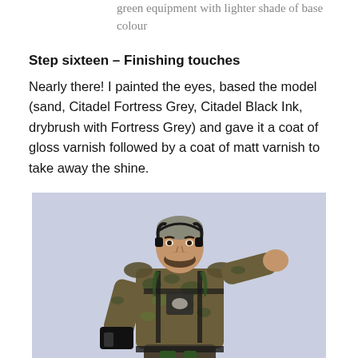green equipment with lighter shade of base colour
Step sixteen – Finishing touches
Nearly there! I painted the eyes, based the model (sand, Citadel Fortress Grey, Citadel Black Ink, drybrush with Fortress Grey) and gave it a coat of gloss varnish followed by a coat of matt varnish to take away the shine.
[Figure (photo): Painted miniature figure of a soldier/militiaman in camouflage clothing, with black headset/communications equipment, dark beard, reaching one arm outward, holding equipment in the other hand. The figure is painted in earth tones and greens. Background is pale lavender-grey.]